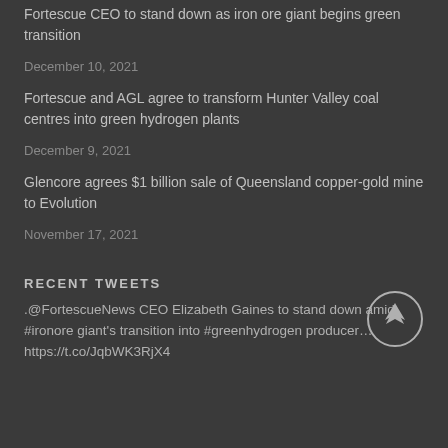Fortescue CEO to stand down as iron ore giant begins green transition
December 10, 2021
Fortescue and AGL agree to transform Hunter Valley coal centres into green hydrogen plants
December 9, 2021
Glencore agrees $1 billion sale of Queensland copper-gold mine to Evolution
November 17, 2021
RECENT TWEETS
.@FortescueNews CEO Elizabeth Gaines to stand down amid #ironore giant's transition into #greenhydrogen producer… https://t.co/JqbWK3RjX4